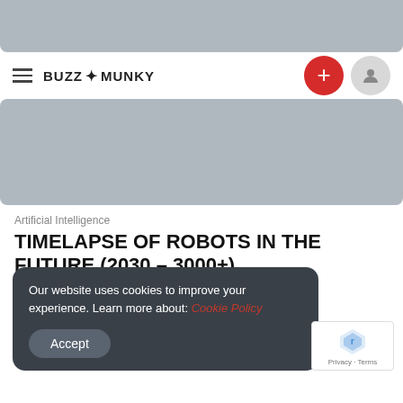[Figure (screenshot): Top gray placeholder image bar]
BUZZ MUNKY — navigation bar with hamburger menu, logo, plus button and user icon
[Figure (photo): Hero image placeholder — gray rectangle]
Artificial Intelligence
TIMELAPSE OF ROBOTS IN THE FUTURE (2030 – 3000+)
TIMELAPSE OF ROBOTS IN THE FUTURE (2030 – 3000+) 🔔 ...
0  May 18, 2022
Our website uses cookies to improve your experience. Learn more about: Cookie Policy
Accept
Privacy · Terms